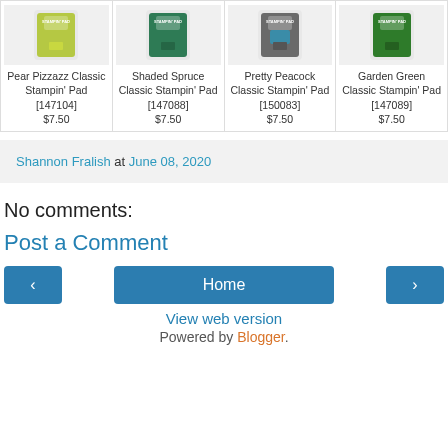| Pear Pizzazz Classic Stampin' Pad [147104] $7.50 | Shaded Spruce Classic Stampin' Pad [147088] $7.50 | Pretty Peacock Classic Stampin' Pad [150083] $7.50 | Garden Green Classic Stampin' Pad [147089] $7.50 |
| --- | --- | --- | --- |
Shannon Fralish at June 08, 2020
No comments:
Post a Comment
< Home > View web version Powered by Blogger.